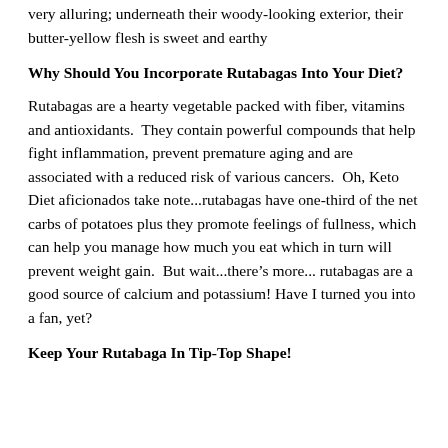very alluring; underneath their woody-looking exterior, their butter-yellow flesh is sweet and earthy
Why Should You Incorporate Rutabagas Into Your Diet?
Rutabagas are a hearty vegetable packed with fiber, vitamins and antioxidants.  They contain powerful compounds that help fight inflammation, prevent premature aging and are associated with a reduced risk of various cancers.  Oh, Keto Diet aficionados take note...rutabagas have one-third of the net carbs of potatoes plus they promote feelings of fullness, which can help you manage how much you eat which in turn will prevent weight gain.  But wait...there’s more... rutabagas are a good source of calcium and potassium! Have I turned you into a fan, yet?
Keep Your Rutabaga In Tip-Top Shape!